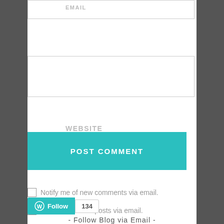EMAIL
WEBSITE
POST COMMENT
Notify me of new comments via email.
Notify me of new posts via email.
[Figure (other): WordPress Follow button widget showing Follow button in teal with WordPress logo and follower count badge showing 134]
- Follow Blog via Email -